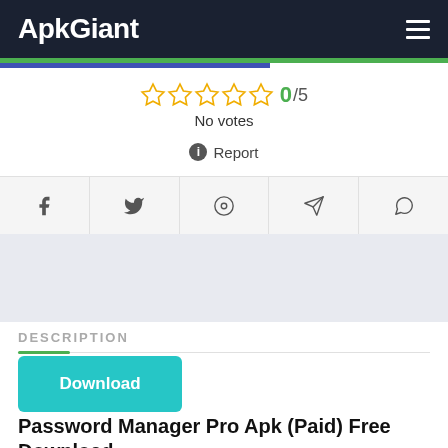ApkGiant
[Figure (screenshot): Rating display with 5 yellow star outlines showing 0/5 rating and 'No votes' text]
Report
[Figure (infographic): Social sharing buttons: Facebook, Twitter, Pinterest, Telegram, WhatsApp]
[Figure (other): Advertisement area with light gray/blue background]
DESCRIPTION
[Figure (other): Download button in teal/cyan color]
Password Manager Pro Apk (Paid) Free Download